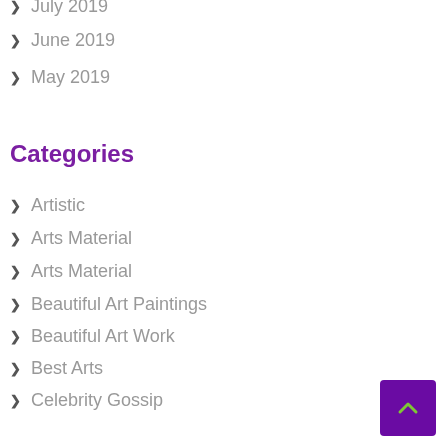July 2019
June 2019
May 2019
Categories
Artistic
Arts Material
Arts Material
Beautiful Art Paintings
Beautiful Art Work
Best Arts
Celebrity Gossip
Celebrity News
Celebrity Story
Colorful Art